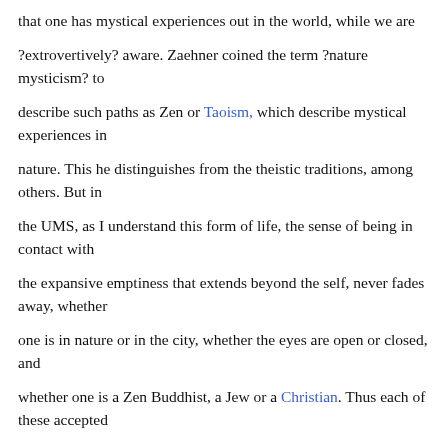that one has mystical experiences out in the world, while we are
?extrovertively? aware. Zaehner coined the term ?nature mysticism? to
describe such paths as Zen or Taoism, which describe mystical experiences in
nature. This he distinguishes from the theistic traditions, among others. But in
the UMS, as I understand this form of life, the sense of being in contact with
the expansive emptiness that extends beyond the self, never fades away, whether
one is in nature or in the city, whether the eyes are open or closed, and
whether one is a Zen Buddhist, a Jew or a Christian. Thus each of these accepted
terms define this experience too narrowly, and thus I coin my own broader term.